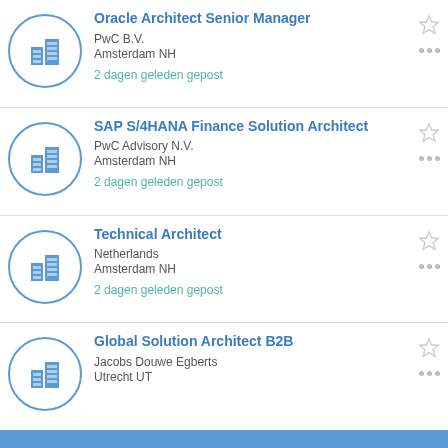Oracle Architect Senior Manager
PwC B.V.
Amsterdam NH
2 dagen geleden gepost
SAP S/4HANA Finance Solution Architect
PwC Advisory N.V.
Amsterdam NH
2 dagen geleden gepost
Technical Architect
Netherlands
Amsterdam NH
2 dagen geleden gepost
Global Solution Architect B2B
Jacobs Douwe Egberts
Utrecht UT